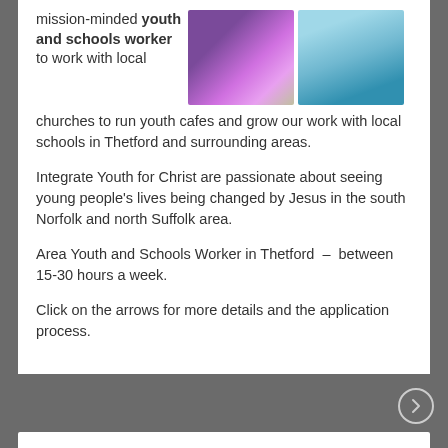mission-minded youth and schools worker to work with local churches to run youth cafes and grow our work with local schools in Thetford and surrounding areas.
[Figure (photo): Two photos side by side: left photo shows a youth event with purple/pink stage lighting and people gathered; right photo shows a person in teal/blue clothing.]
Integrate Youth for Christ are passionate about seeing young people's lives being changed by Jesus in the south Norfolk and north Suffolk area.
Area Youth and Schools Worker in Thetford – between 15-30 hours a week.
Click on the arrows for more details and the application process.